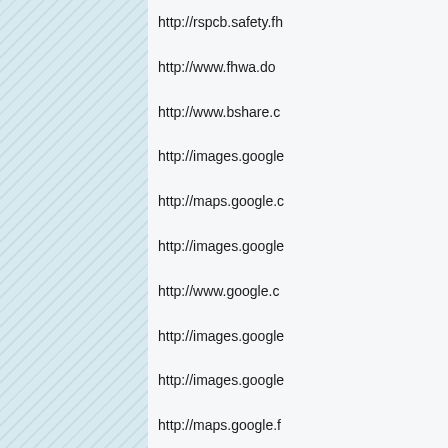http://rspcb.safety.fh
http://www.fhwa.do
http://www.bshare.c
http://images.google
http://maps.google.c
http://images.google
http://www.google.c
http://images.google
http://images.google
http://maps.google.f
http://images.google
http://maps.google.p